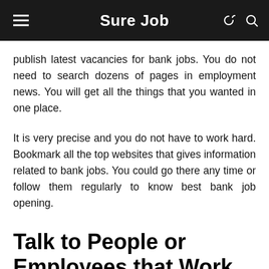Sure Job
publish latest vacancies for bank jobs. You do not need to search dozens of pages in employment news. You will get all the things that you wanted in one place.
It is very precise and you do not have to work hard. Bookmark all the top websites that gives information related to bank jobs. You could go there any time or follow them regularly to know best bank job opening.
Talk to People or Employees that Work in Bank